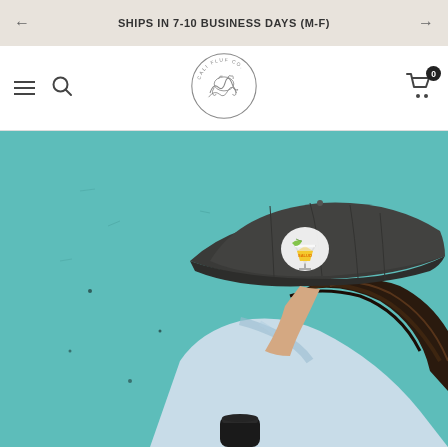SHIPS IN 7-10 BUSINESS DAYS (M-F)
[Figure (logo): Cali Fluf Co circular logo with wave/surf design]
[Figure (photo): Person wearing a dark grey washed dad hat with a margarita glass embroidered patch, against a teal background, holding a can]